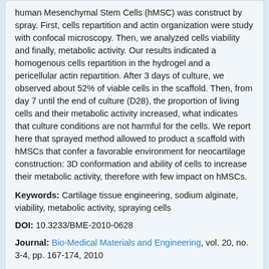human Mesenchymal Stem Cells (hMSC) was construct by spray. First, cells repartition and actin organization were study with confocal microscopy. Then, we analyzed cells viability and finally, metabolic activity. Our results indicated a homogenous cells repartition in the hydrogel and a pericellular actin repartition. After 3 days of culture, we observed about 52% of viable cells in the scaffold. Then, from day 7 until the end of culture (D28), the proportion of living cells and their metabolic activity increased, what indicates that culture conditions are not harmful for the cells. We report here that sprayed method allowed to product a scaffold with hMSCs that confer a favorable environment for neocartilage construction: 3D conformation and ability of cells to increase their metabolic activity, therefore with few impact on hMSCs.
Keywords: Cartilage tissue engineering, sodium alginate, viability, metabolic activity, spraying cells
DOI: 10.3233/BME-2010-0628
Journal: Bio-Medical Materials and Engineering, vol. 20, no. 3-4, pp. 167-174, 2010
Published: 2010
Price: EUR 27.50